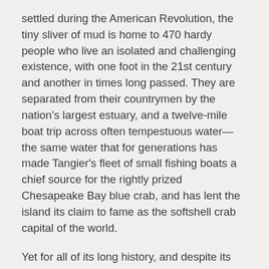settled during the American Revolution, the tiny sliver of mud is home to 470 hardy people who live an isolated and challenging existence, with one foot in the 21st century and another in times long passed. They are separated from their countrymen by the nation's largest estuary, and a twelve-mile boat trip across often tempestuous water—the same water that for generations has made Tangier's fleet of small fishing boats a chief source for the rightly prized Chesapeake Bay blue crab, and has lent the island its claim to fame as the softshell crab capital of the world.
Yet for all of its long history, and despite its tenacity, Tangier is disappearing. The very water that has long sustained it is erasing the island day by day, wave by wave. It has lost two-thirds of its land since 1850, and still its shoreline retreats by fifteen feet a year—meaning this storied place will likely succumb first among U.S. towns to the effects of climate change. Experts reckon that, barring heroic intervention by the federal government, islanders could be forced to abandon their home within twenty-five